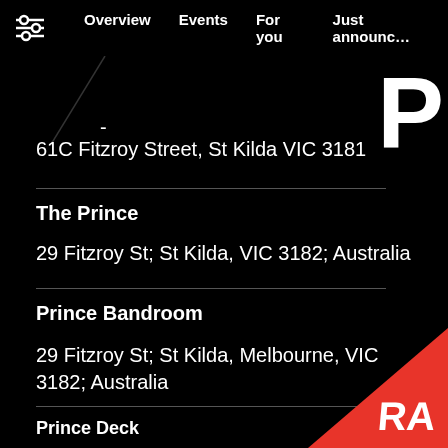Overview  Events  For you  Just announced
61C Fitzroy Street, St Kilda VIC 3181
The Prince
29 Fitzroy St; St Kilda, VIC 3182; Australia
Prince Bandroom
29 Fitzroy St; St Kilda, Melbourne, VIC 3182; Australia
Prince Deck
2 Acland Street 3182 St Kilda, Victoria